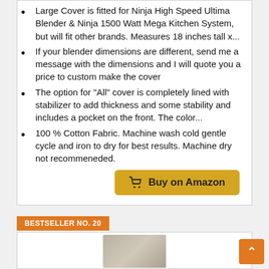Large Cover is fitted for Ninja High Speed Ultima Blender & Ninja 1500 Watt Mega Kitchen System, but will fit other brands. Measures 18 inches tall x...
If your blender dimensions are different, send me a message with the dimensions and I will quote you a price to custom make the cover
The option for "All" cover is completely lined with stabilizer to add thickness and some stability and includes a pocket on the front. The color...
100 % Cotton Fabric. Machine wash cold gentle cycle and iron to dry for best results. Machine dry not recommeneded.
Buy on Amazon
BESTSELLER NO. 20
[Figure (photo): Product image at bottom of page, partially visible blender cover in light gray/beige color]